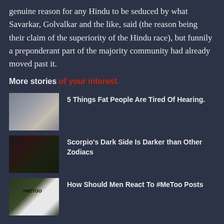genuine reason for any Hindu to be seduced by what Savarkar, Golvalkar and the like, said (the reason being their claim of the superiority of the Hindu race), but funnily a preponderant part of the majority community had already moved past it.
More stories of your interest.
[Figure (photo): Thumbnail image showing a person's midsection/belly area]
5 Things Fat People Are Tired Of Hearing.
[Figure (photo): Thumbnail image with dark tones, appears to show hands or objects in low light]
Scorpio's Dark Side Is Darker than Other Zodiacs
[Figure (photo): Thumbnail image showing person holding a #MeToo sign outdoors]
How Should Men React To #MeToo Posts